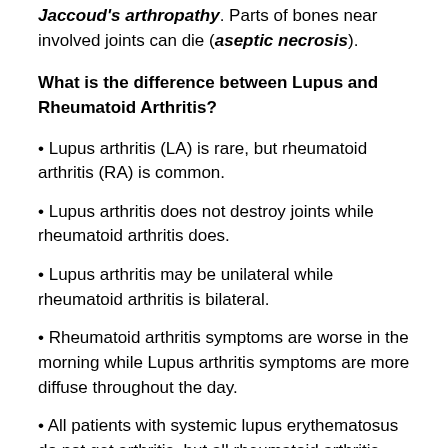Jaccoud's arthropathy. Parts of bones near involved joints can die (aseptic necrosis).
What is the difference between Lupus and Rheumatoid Arthritis?
Lupus arthritis (LA) is rare, but rheumatoid arthritis (RA) is common.
Lupus arthritis does not destroy joints while rheumatoid arthritis does.
Lupus arthritis may be unilateral while rheumatoid arthritis is bilateral.
Rheumatoid arthritis symptoms are worse in the morning while Lupus arthritis symptoms are more diffuse throughout the day.
All patients with systemic lupus erythematosus do not get arthritis, but all rheumatoid arthritis patients have joint involvement.